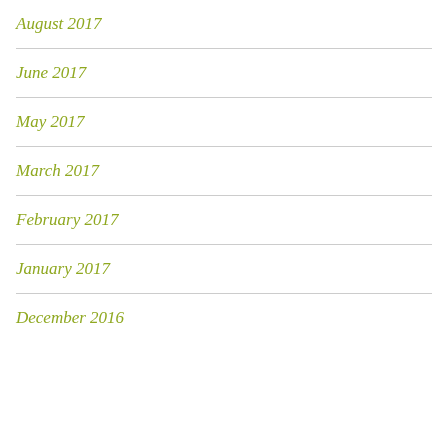August 2017
June 2017
May 2017
March 2017
February 2017
January 2017
December 2016